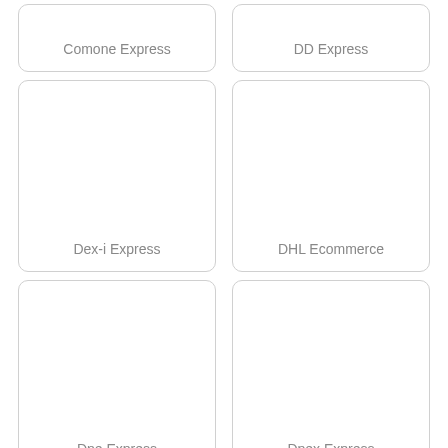[Figure (other): Card labeled Comone Express]
[Figure (other): Card labeled DD Express]
[Figure (other): Card labeled Dex-i Express]
[Figure (other): Card labeled DHL Ecommerce]
[Figure (other): Card labeled Dpe Express]
[Figure (other): Card labeled Dpex Express]
[Figure (other): Card (partial, bottom clipped)]
[Figure (other): Card (partial, bottom clipped)]